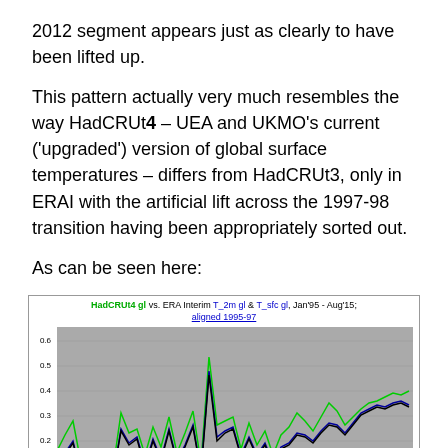2012 segment appears just as clearly to have been lifted up.
This pattern actually very much resembles the way HadCRUt4 – UEA and UKMO's current ('upgraded') version of global surface temperatures – differs from HadCRUt3, only in ERAI with the artificial lift across the 1997-98 transition having been appropriately sorted out.
As can be seen here:
[Figure (continuous-plot): Line chart titled 'HadCRUt4 gl vs. ERA Interim T_2m gl & T_sfc gl, Jan'95 - Aug'15; aligned 1995-97'. Shows three overlapping lines (green, blue/dark blue, black) on a grey background plotting temperature anomalies from roughly -0.1 to 0.6 over the period 1995-2015.]